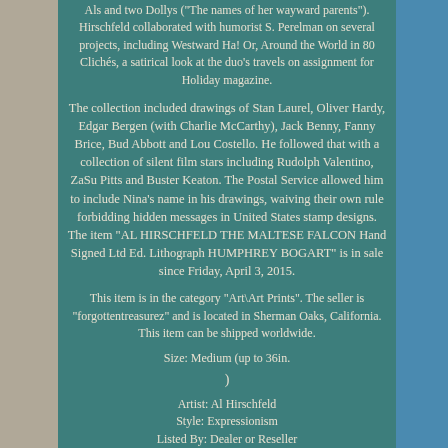Als and two Dollys ("The names of her wayward parents"). Hirschfeld collaborated with humorist S. Perelman on several projects, including Westward Ha! Or, Around the World in 80 Clichés, a satirical look at the duo's travels on assignment for Holiday magazine.
The collection included drawings of Stan Laurel, Oliver Hardy, Edgar Bergen (with Charlie McCarthy), Jack Benny, Fanny Brice, Bud Abbott and Lou Costello. He followed that with a collection of silent film stars including Rudolph Valentino, ZaSu Pitts and Buster Keaton. The Postal Service allowed him to include Nina's name in his drawings, waiving their own rule forbidding hidden messages in United States stamp designs. The item "AL HIRSCHFELD THE MALTESE FALCON Hand Signed Ltd Ed. Lithograph HUMPHREY BOGART" is in sale since Friday, April 3, 2015.
This item is in the category "Art\Art Prints". The seller is "forgottentreasurez" and is located in Sherman Oaks, California. This item can be shipped worldwide.
Size: Medium (up to 36in.
)
Artist: Al Hirschfeld
Style: Expressionism
Listed By: Dealer or Reseller
Quantity Type: Single Piece Work